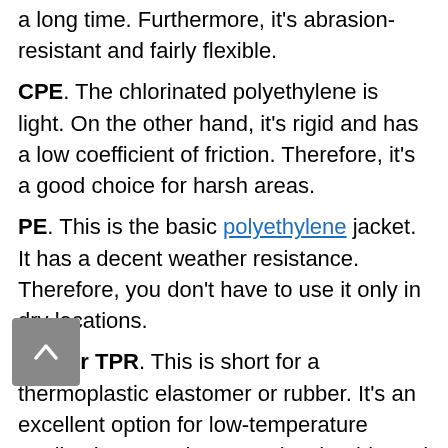a long time. Furthermore, it's abrasion-resistant and fairly flexible.
CPE. The chlorinated polyethylene is light. On the other hand, it's rigid and has a low coefficient of friction. Therefore, it's a good choice for harsh areas.
PE. This is the basic polyethylene jacket. It has a decent weather resistance. Therefore, you don't have to use it only in dry locations.
TPE or TPR. This is short for a thermoplastic elastomer or rubber. It's an excellent option for low-temperature applications. Furthermore, it's durable and flexible for its low cost.